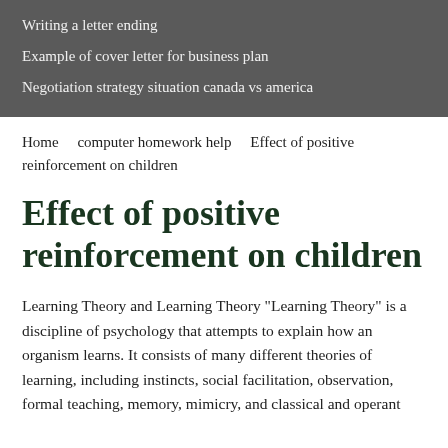Writing a letter ending
Example of cover letter for business plan
Negotiation strategy situation canada vs america
Home   computer homework help   Effect of positive reinforcement on children
Effect of positive reinforcement on children
Learning Theory and Learning Theory "Learning Theory" is a discipline of psychology that attempts to explain how an organism learns. It consists of many different theories of learning, including instincts, social facilitation, observation, formal teaching, memory, mimicry, and classical and operant